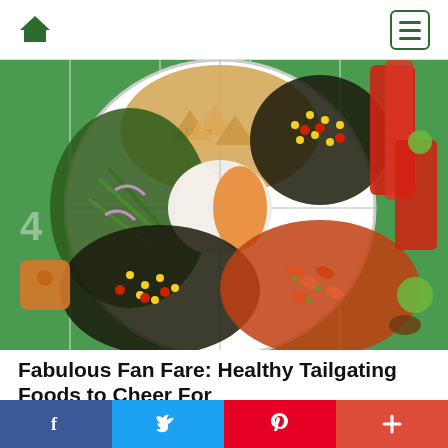Home | Menu
[Figure (photo): A large round divided platter with various tailgating foods including chips, black bean and corn salsa, spicy shrimp, green bean salad, dipping sauces, set on a green football field tablecloth with drinks and small football decorations around it.]
Fabulous Fan Fare: Healthy Tailgating Foods to Cheer For
Aug 31, 2017 11:14AM • By Judith Fertig
f  Twitter  p  +